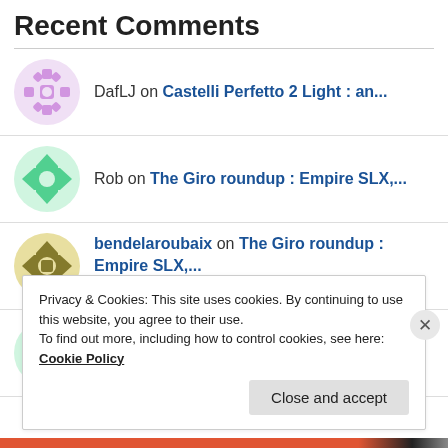Recent Comments
DafLJ on Castelli Perfetto 2 Light : an...
Rob on The Giro roundup : Empire SLX,...
bendelaroubaix on The Giro roundup : Empire SLX,...
Rob on The Giro roundup : Empire SLX,...
Privacy & Cookies: This site uses cookies. By continuing to use this website, you agree to their use.
To find out more, including how to control cookies, see here: Cookie Policy